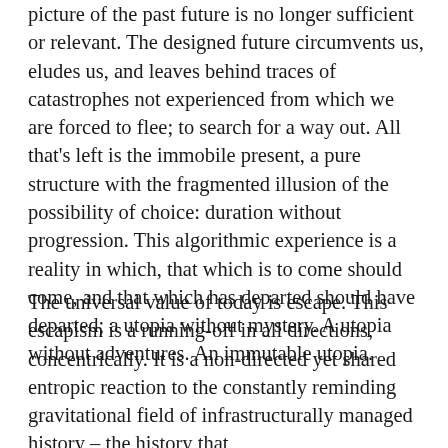picture of the past future is no longer sufficient or relevant. The designed future circumvents us, eludes us, and leaves behind traces of catastrophes not experienced from which we are forced to flee; to search for a way out. All that's left is the immobile present, a pure structure with the fragmented illusion of the possibility of choice: duration without progression. This algorithmic experience is a reality in which, that which is to come should come, and that which has departed should have departed; a utopia without mystery. A utopia without adventures. An immutable utopia.
The universal value of today is escape. This escapism is a running-off in all directions, concentrically. It is a non-directed yet shared entropic reaction to the constantly reminding gravitational field of infrastructurally managed history – the history that